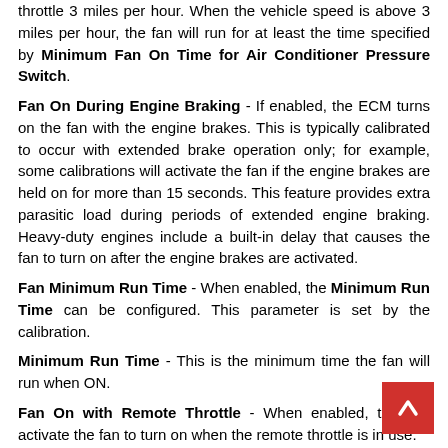throttle 3 miles per hour. When the vehicle speed is above 3 miles per hour, the fan will run for at least the time specified by Minimum Fan On Time for Air Conditioner Pressure Switch.
Fan On During Engine Braking - If enabled, the ECM turns on the fan with the engine brakes. This is typically calibrated to occur with extended brake operation only; for example, some calibrations will activate the fan if the engine brakes are held on for more than 15 seconds. This feature provides extra parasitic load during periods of extended engine braking. Heavy-duty engines include a built-in delay that causes the fan to turn on after the engine brakes are activated.
Fan Minimum Run Time - When enabled, the Minimum Run Time can be configured. This parameter is set by the calibration.
Minimum Run Time - This is the minimum time the fan will run when ON.
Fan On with Remote Throttle - When enabled, this will activate the fan to turn on when the remote throttle is in use.